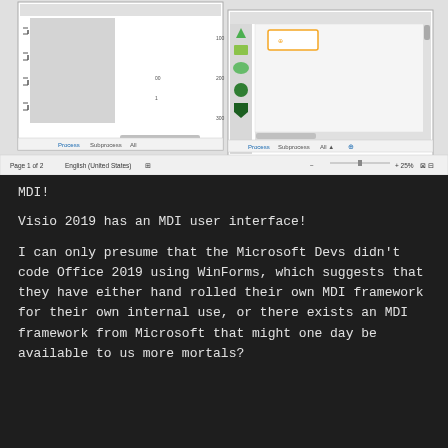[Figure (screenshot): Screenshot of a Microsoft Visio 2019 application window showing MDI (Multiple Document Interface) with two child windows open side by side, each containing diagram content with shapes panel and tabs for Process, Subprocess, All. Status bar at bottom shows Page 1 of 2, English (United States), 25% zoom.]
MDI!
Visio 2019 has an MDI user interface!
I can only presume that the Microsoft Devs didn't code Office 2019 using WinForms, which suggests that they have either hand rolled their own MDI framework for their own internal use, or there exists an MDI framework from Microsoft that might one day be available to us more mortals?